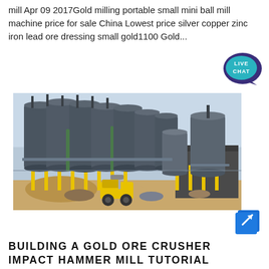mill Apr 09 2017Gold milling portable small mini ball mill machine price for sale China Lowest price silver copper zinc iron lead ore dressing small gold1100 Gold...
[Figure (photo): Industrial facility with multiple large cylindrical metal silos/tanks elevated on yellow steel frames, with a front-loader working in the foreground on a dirt site.]
BUILDING A GOLD ORE CRUSHER IMPACT HAMMER MILL TUTORIAL